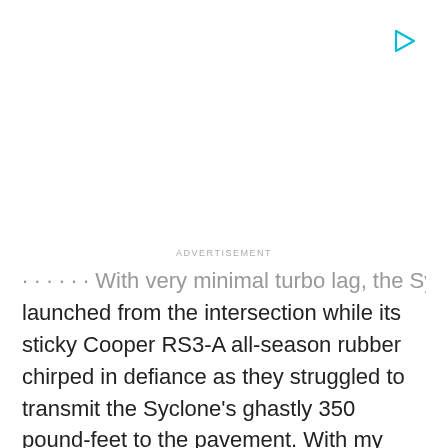[Figure (other): Advertisement placeholder area with a cyan play button triangle icon in the top right corner]
ADVERTISEMENT
... With very minimal turbo lag, the Syclone launched from the intersection while its sticky Cooper RS3-A all-season rubber chirped in defiance as they struggled to transmit the Syclone's ghastly 350 pound-feet to the pavement. With my neck pinned against the headrest, a school-girl giggle escaped as the archaic boost gauge needle soared to 14 pounds per square inch. Sixty miles per hour came alarmingly fast, and I reluctantly let off the throttle. The loud exhale from the factory